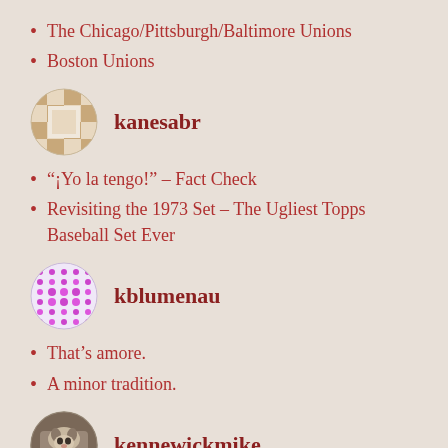The Chicago/Pittsburgh/Baltimore Unions
Boston Unions
[Figure (illustration): Circular avatar for user kanesabr, checkered tan and beige pattern]
kanesabr
“¡Yo la tengo!” – Fact Check
Revisiting the 1973 Set – The Ugliest Topps Baseball Set Ever
[Figure (illustration): Circular avatar for user kblumenau, pink/magenta dotted pattern]
kblumenau
That’s amore.
A minor tradition.
[Figure (photo): Circular avatar for user kennewickmike, appears to be a cat photo]
kennewickmike